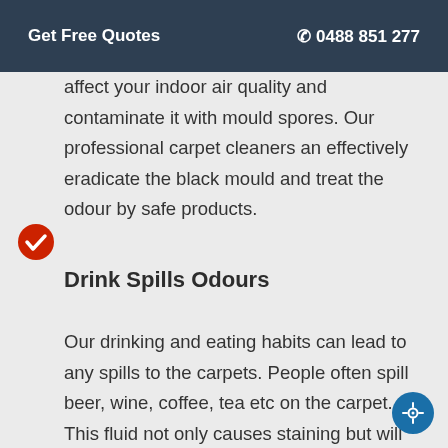Get Free Quotes   📞 0488 851 277
affect your indoor air quality and contaminate it with mould spores. Our professional carpet cleaners an effectively eradicate the black mould and treat the odour by safe products.
Drink Spills Odours
Our drinking and eating habits can lead to any spills to the carpets. People often spill beer, wine, coffee, tea etc on the carpet. This fluid not only causes staining but will also release a bad odour. Alcoholic beverages release a bad pungent odour which can affect on peace of mind. We at Mark's Carpet cleaning will remove any drink spill odour for the carpet easily. We will use natural and green products to